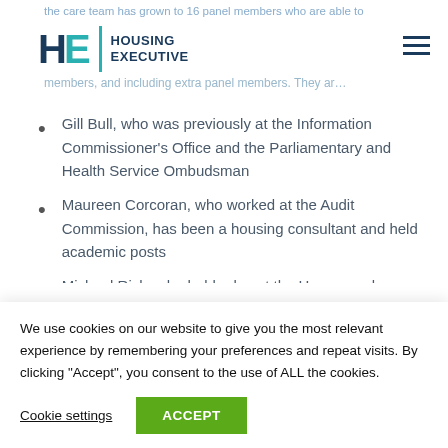Housing Executive
Gill Bull, who was previously at the Information Commissioner's Office and the Parliamentary and Health Service Ombudsman
Maureen Corcoran, who worked at the Audit Commission, has been a housing consultant and held academic posts
Michael Rich, who held roles at the Homes and Communities Agency and the Gangmasters and Labour Abuse Authority
We use cookies on our website to give you the most relevant experience by remembering your preferences and repeat visits. By clicking “Accept”, you consent to the use of ALL the cookies.
Cookie settings  ACCEPT